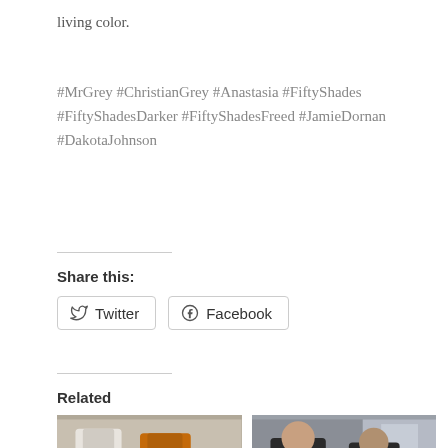living color.
#MrGrey #ChristianGrey #Anastasia #FiftyShades #FiftyShadesDarker #FiftyShadesFreed #JamieDornan #DakotaJohnson
Share this:
Twitter  Facebook
Related
[Figure (photo): Two people in costume, one in white and black suit, one in orange jumpsuit]
TOP 10 VIDEOS TO GET
[Figure (photo): Two people in dark tactical/combat gear]
SATISFYING MY HUNGER